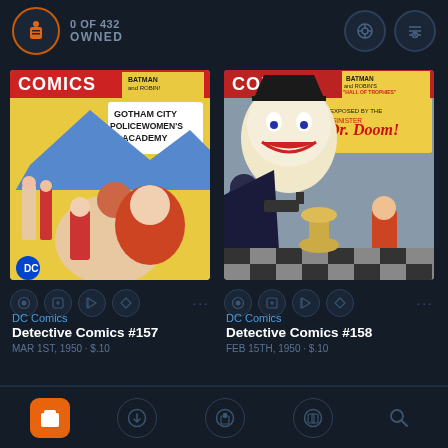0 OF 432 OWNED
[Figure (screenshot): Comic book cover for Detective Comics #157 featuring Batman and Robin, Gotham City Policewomen's Academy scene]
[Figure (screenshot): Comic book cover for Detective Comics #158 featuring Batman and Robin's Hall of Trophies exposed by Dr. Doom, with The Joker]
DC Comics
Detective Comics #157
MAR 1ST, 1950 · $.10
DC Comics
Detective Comics #158
FEB 15TH, 1950 · $.10
Navigation bar with icons: collection, download, library, reading, search